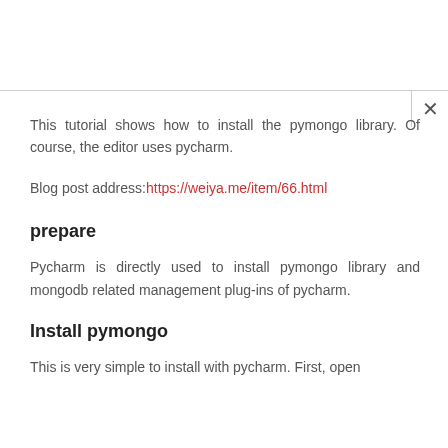This tutorial shows how to install the pymongo library. Of course, the editor uses pycharm.
Blog post address: https://weiya.me/item/66.html
prepare
Pycharm is directly used to install pymongo library and mongodb related management plug-ins of pycharm.
Install pymongo
This is very simple to install with pycharm. First, open